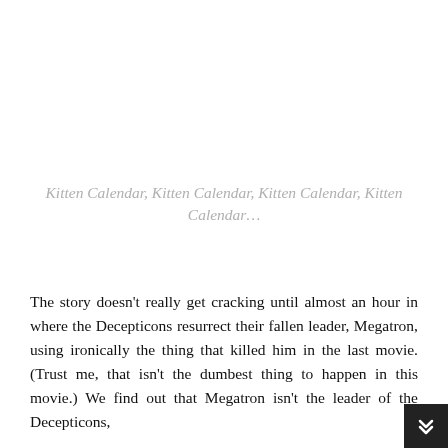Kitten Calendar, Kitten Calendar, Kitten Calendar, Kitten Calendar…
The story doesn't really get cracking until almost an hour in where the Decepticons resurrect their fallen leader, Megatron, using ironically the thing that killed him in the last movie. (Trust me, that isn't the dumbest thing to happen in this movie.) We find out that Megatron isn't the leader of the Decepticons,